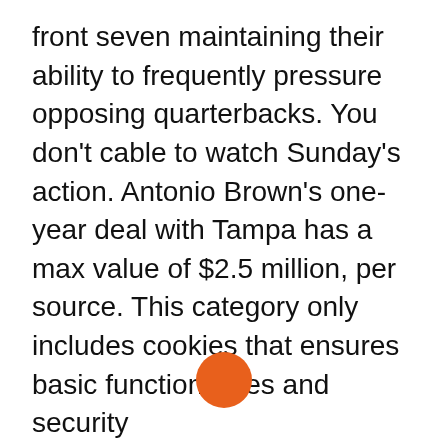front seven maintaining their ability to frequently pressure opposing quarterbacks. You don't cable to watch Sunday's action. Antonio Brown's one-year deal with Tampa has a max value of $2.5 million, per source. This category only includes cookies that ensures basic functionalities and security
[Figure (other): An orange filled circle, approximately 45px in diameter, positioned in the lower-center area of the page.]